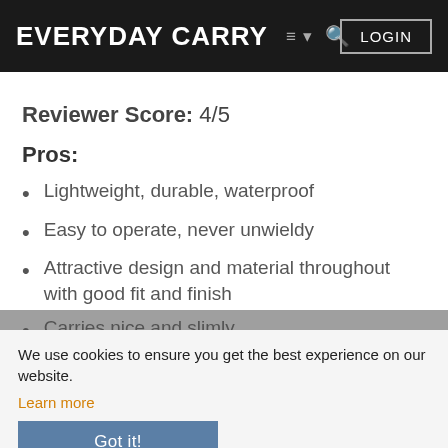EVERYDAY CARRY  LOGIN
Reviewer Score: 4/5
Pros:
Lightweight, durable, waterproof
Easy to operate, never unwieldy
Attractive design and material throughout with good fit and finish
Carries nice and slimly
Cons:
Best suited for carrying cards with cash, not ideal for either or
Lacks any real organization or privacy/security
can crumple
Conclusion
We use cookies to ensure you get the best experience on our website.
Learn more
Got it!